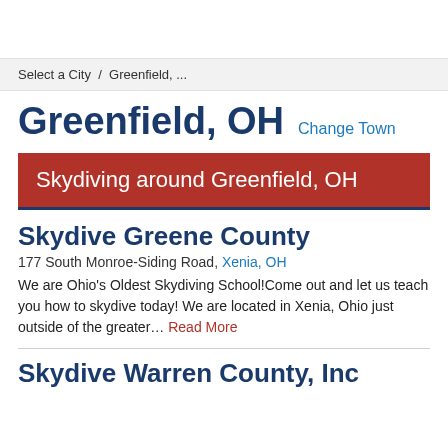Select a City / Greenfield, ...
Greenfield, OH Change Town
Skydiving around Greenfield, OH
Skydive Greene County
177 South Monroe-Siding Road, Xenia, OH
We are Ohio's Oldest Skydiving School!Come out and let us teach you how to skydive today! We are located in Xenia, Ohio just outside of the greater... Read More
Skydive Warren County, Inc